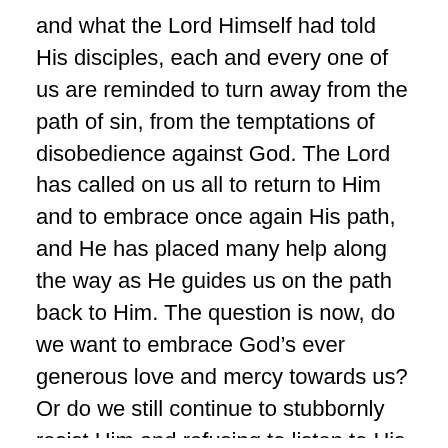and what the Lord Himself had told His disciples, each and every one of us are reminded to turn away from the path of sin, from the temptations of disobedience against God. The Lord has called on us all to return to Him and to embrace once again His path, and He has placed many help along the way as He guides us on the path back to Him. The question is now, do we want to embrace God’s ever generous love and mercy towards us? Or do we still continue to stubbornly resist Him and refusing to listen to His call for us to turn back to Him?
Brothers and sisters in Christ, today we should heed the examples of our predecessors, in how they have lived their lives with faith, rejecting the path of sin, the temptations and wickedness of this world, and in dying to defend their faith in God. St. Paulinus of Nola was a